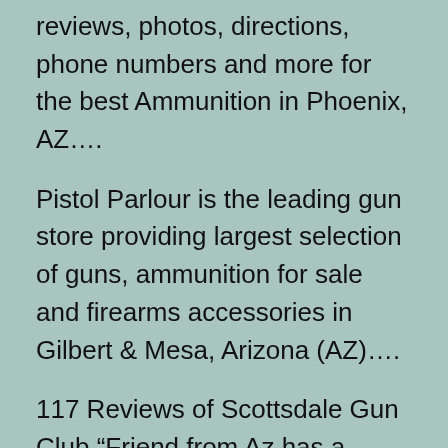reviews, photos, directions, phone numbers and more for the best Ammunition in Phoenix, AZ….
Pistol Parlour is the leading gun store providing largest selection of guns, ammunition for sale and firearms accessories in Gilbert & Mesa, Arizona (AZ)….
117 Reviews of Scottsdale Gun Club “Friend from Az has a membership here and was able to walk us in to test out the toys. The range has tons of lanes, bullets are ……
39 Reviews of Crossroads of the West Gun